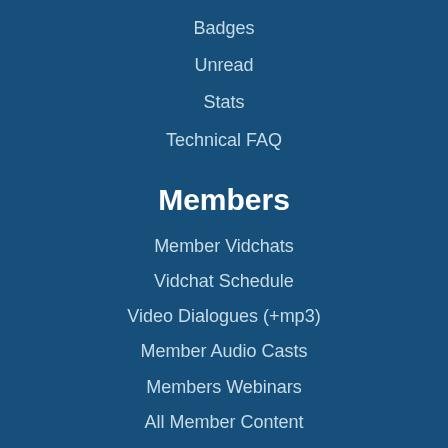Badges
Unread
Stats
Technical FAQ
Members
Member Vidchats
Vidchat Schedule
Video Dialogues (+mp3)
Member Audio Casts
Members Webinars
All Member Content
Audio Chapters
Member Documents